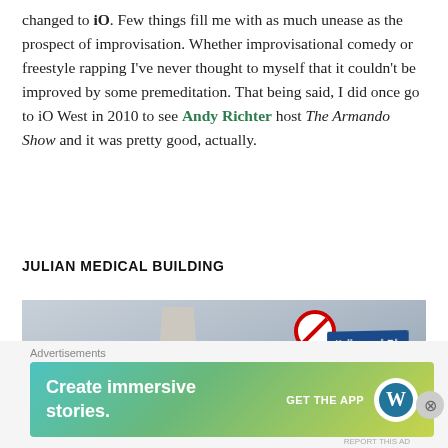changed to iO. Few things fill me with as much unease as the prospect of improvisation. Whether improvisational comedy or freestyle rapping I've never thought to myself that it couldn't be improved by some premeditation. That being said, I did once go to iO West in 2010 to see Andy Richter host The Armando Show and it was pretty good, actually.
JULIAN MEDICAL BUILDING
[Figure (photo): Photo of a tall narrow building (Julian Medical Building) with a pointed top, shot from street level against a grey sky. In the foreground right, a traffic light pole with a no-turn sign and a Hollywood Bl street sign.]
Advertisements
[Figure (other): Advertisement banner: gradient teal-green-yellow background with white text 'Create immersive stories.' and 'GET THE APP' with WordPress logo]